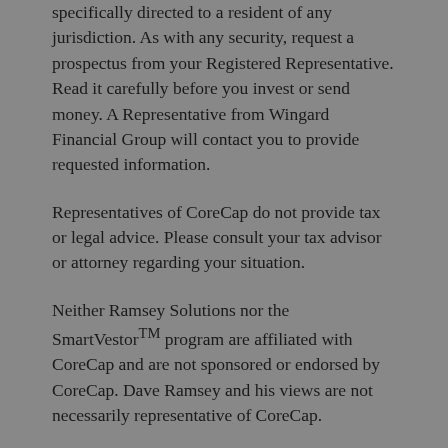specifically directed to a resident of any jurisdiction. As with any security, request a prospectus from your Registered Representative. Read it carefully before you invest or send money. A Representative from Wingard Financial Group will contact you to provide requested information.
Representatives of CoreCap do not provide tax or legal advice. Please consult your tax advisor or attorney regarding your situation.
Neither Ramsey Solutions nor the SmartVestor™ program are affiliated with CoreCap and are not sponsored or endorsed by CoreCap. Dave Ramsey and his views are not necessarily representative of CoreCap.
Working with an investment professional that is part of the SmartVestor™ advertising service cannot guarantee investment success or that you will achieve your financial goals. There can be no assurance that working with a SmartVestor™ will produce better outcomes that working with